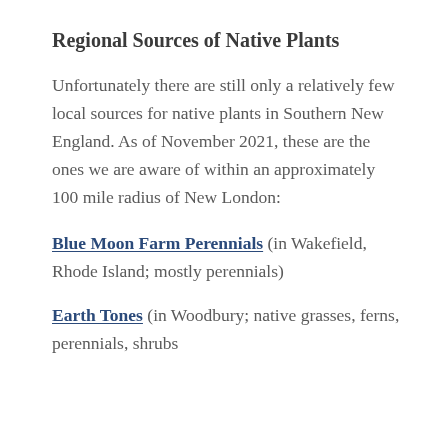Regional Sources of Native Plants
Unfortunately there are still only a relatively few local sources for native plants in Southern New England. As of November 2021, these are the ones we are aware of within an approximately 100 mile radius of New London:
Blue Moon Farm Perennials (in Wakefield, Rhode Island; mostly perennials)
Earth Tones (in Woodbury; native grasses, ferns, perennials, shrubs